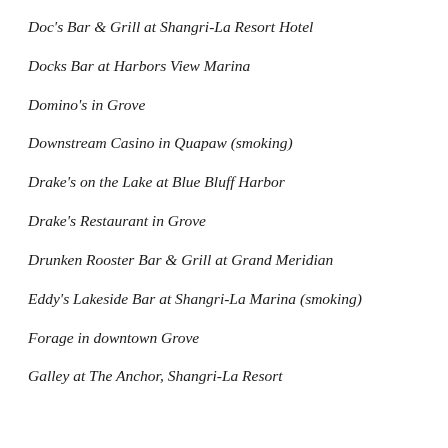Doc's Bar & Grill at Shangri-La Resort Hotel
Docks Bar at Harbors View Marina
Domino's in Grove
Downstream Casino in Quapaw (smoking)
Drake's on the Lake at Blue Bluff Harbor
Drake's Restaurant in Grove
Drunken Rooster Bar & Grill at Grand Meridian
Eddy's Lakeside Bar at Shangri-La Marina (smoking)
Forage in downtown Grove
Galley at The Anchor, Shangri-La Resort